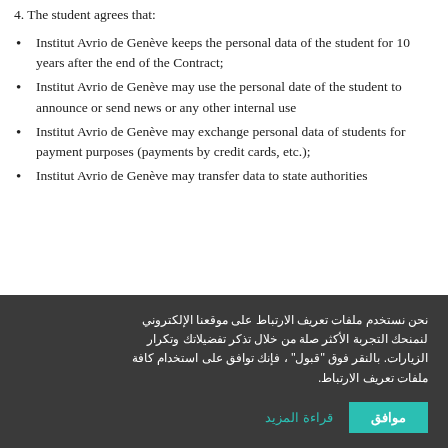4. The student agrees that:
Institut Avrio de Genève keeps the personal data of the student for 10 years after the end of the Contract;
Institut Avrio de Genève may use the personal date of the student to announce or send news or any other internal use
Institut Avrio de Genève may exchange personal data of students for payment purposes (payments by credit cards, etc.);
Institut Avrio de Genève may transfer data to state authorities
نحن نستخدم ملفات تعريف الارتباط على موقعنا الإلكتروني لنمنحك التجربة الأكثر صلة من خلال تذكر تفضيلاتك وتكرار الزيارات. بالنقر فوق "قبول" ، فإنك توافق على استخدام كافة ملفات تعريف الارتباط.
موافق
قراءة المزيد